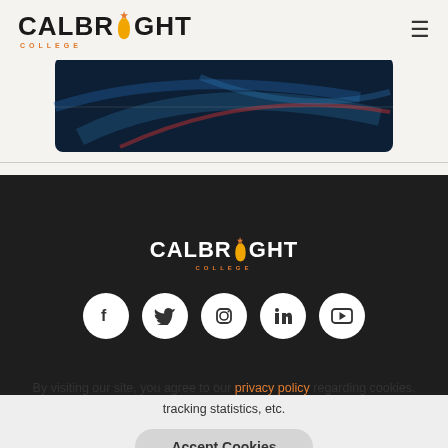CALBRIGHT COLLEGE
[Figure (photo): Hero image strip showing a dark blue abstract/technology themed banner image, partially visible at top of content area]
[Figure (logo): Calbright College logo in white on dark background with orange California bear symbol and star]
[Figure (infographic): Row of 5 white circular social media icons on dark background: Facebook, Twitter, Instagram, LinkedIn, YouTube]
By visiting our site, you agree to our privacy policy regarding cookies, tracking statistics, etc.
Accept Cookies